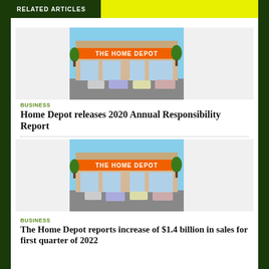RELATED ARTICLES
[Figure (photo): Exterior photo of a Home Depot store with orange signage, parking lot with vehicles, blue sky background]
BUSINESS
Home Depot releases 2020 Annual Responsibility Report
[Figure (photo): Exterior photo of a Home Depot store with orange signage, parking lot with vehicles, blue sky background]
BUSINESS
The Home Depot reports increase of $1.4 billion in sales for first quarter of 2022